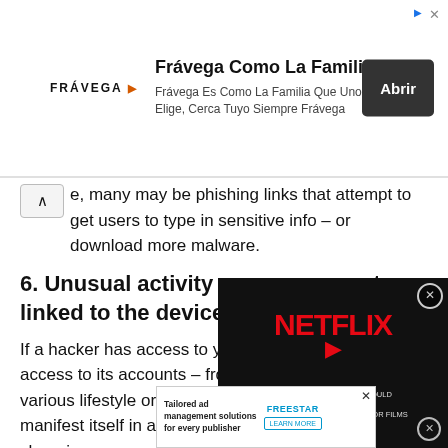[Figure (infographic): Frávega advertisement banner with logo, tagline 'Frávega Como La Familia', subtitle 'Frávega Es Como La Familia Que Uno Elige, Cerca Tuyo Siempre Frávega', and 'Abrir' button]
e, many may be phishing links that attempt to get users to type in sensitive info – or download more malware.
6. Unusual activity on any accounts linked to the device
If a hacker has access to your phone, they also have access to its accounts – from social media to email to various lifestyle or productivity apps. This may manifest itself in activity on your accounts, like changing your password, sending emails, marking emails as read that you don't remember reading, or signing up for new accounts whose verification emails go to your phone.
In this case, there criminals could use your...
[Figure (screenshot): Netflix video overlay ad showing Netflix logo and subtitle about ad-supported tier]
[Figure (infographic): Bottom advertisement for Freestar tailored ad management solutions]